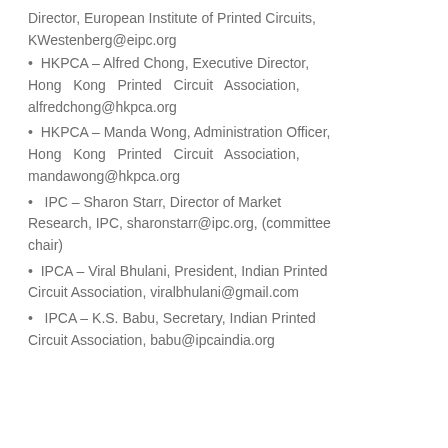Director, European Institute of Printed Circuits, KWestenberg@eipc.org
HKPCA – Alfred Chong, Executive Director, Hong Kong Printed Circuit Association, alfredchong@hkpca.org
HKPCA – Manda Wong, Administration Officer, Hong Kong Printed Circuit Association, mandawong@hkpca.org
IPC – Sharon Starr, Director of Market Research, IPC, sharonstarr@ipc.org, (committee chair)
IPCA – Viral Bhulani, President, Indian Printed Circuit Association, viralbhulani@gmail.com
IPCA – K.S. Babu, Secretary, Indian Printed Circuit Association, babu@ipcaindia.org